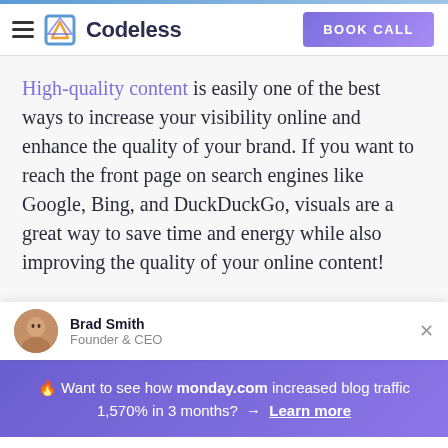Codeless — BOOK CALL
High-quality content is easily one of the best ways to increase your visibility online and enhance the quality of your brand. If you want to reach the front page on search engines like Google, Bing, and DuckDuckGo, visuals are a great way to save time and energy while also improving the quality of your online content!
Brad Smith
Founder & CEO
🔥 Want to see how monday.com increased blog traffic 1,570% in 3 months? → Learn more